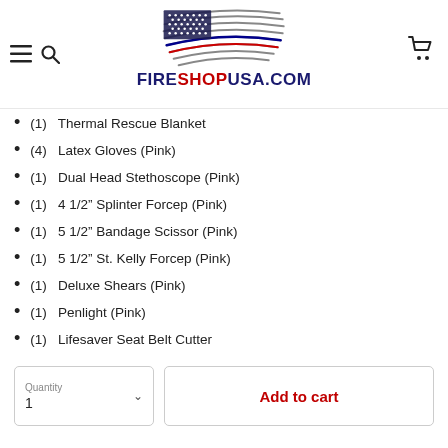FIRESHOPUSA.COM header with navigation icons
(1)  Thermal Rescue Blanket
(4)  Latex Gloves (Pink)
(1)  Dual Head Stethoscope (Pink)
(1)  4 1/2" Splinter Forcep (Pink)
(1)  5 1/2" Bandage Scissor (Pink)
(1)  5 1/2" St. Kelly Forcep (Pink)
(1)  Deluxe Shears (Pink)
(1)  Penlight (Pink)
(1)  Lifesaver Seat Belt Cutter